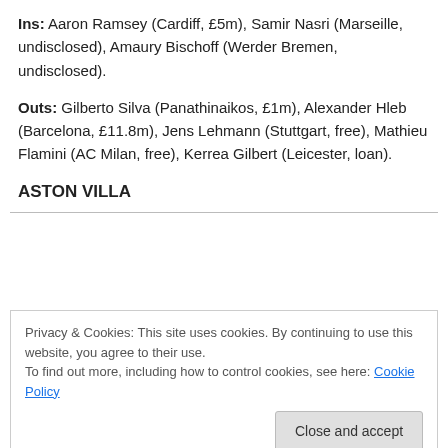Ins: Aaron Ramsey (Cardiff, £5m), Samir Nasri (Marseille, undisclosed), Amaury Bischoff (Werder Bremen, undisclosed).
Outs: Gilberto Silva (Panathinaikos, £1m), Alexander Hleb (Barcelona, £11.8m), Jens Lehmann (Stuttgart, free), Mathieu Flamini (AC Milan, free), Kerrea Gilbert (Leicester, loan).
ASTON VILLA
Privacy & Cookies: This site uses cookies. By continuing to use this website, you agree to their use.
To find out more, including how to control cookies, see here: Cookie Policy
Close and accept